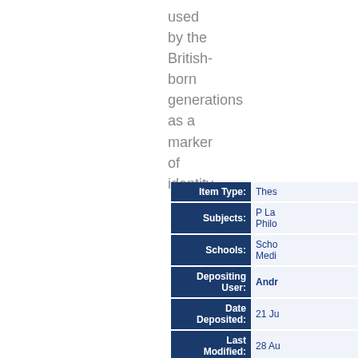used by the British-born generations as a marker of identity.
| Field | Value |
| --- | --- |
| Item Type: | Thes |
| Subjects: | P La
Philo |
| Schools: | Scho
Medi |
| Depositing User: | Andr |
| Date Deposited: | 21 Ju |
| Last Modified: | 28 Au |
| URI: | http:/ |